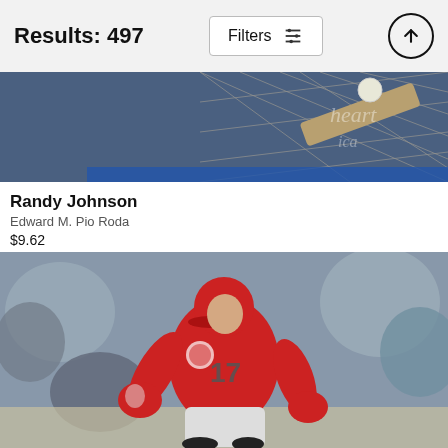Results: 497
[Figure (screenshot): Filters button with sliders icon]
[Figure (screenshot): Up/back-to-top arrow button]
[Figure (photo): Partial photo of Randy Johnson pitching — baseball bat impact visible with netting background and 'heart America' text watermark]
Randy Johnson
Edward M. Pio Roda
$9.62
[Figure (photo): Baseball player in red Angels uniform number 17 running the bases, identified as Shohei Ohtani, with blurred crowd background]